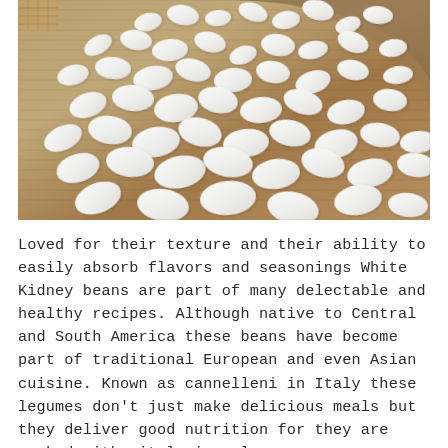[Figure (photo): White kidney beans (cannelleni beans) spilled from a burlap sack onto a burlap surface, photographed from above at an angle. The beans are white and oval-shaped, scattered densely in the center and more sparsely toward the edges.]
Loved for their texture and their ability to easily absorb flavors and seasonings White Kidney beans are part of many delectable and healthy recipes. Although native to Central and South America these beans have become part of traditional European and even Asian cuisine. Known as cannelleni in Italy these legumes don't just make delicious meals but they deliver good nutrition for they are packed with vital minerals, vitamins, proteins and fiber.